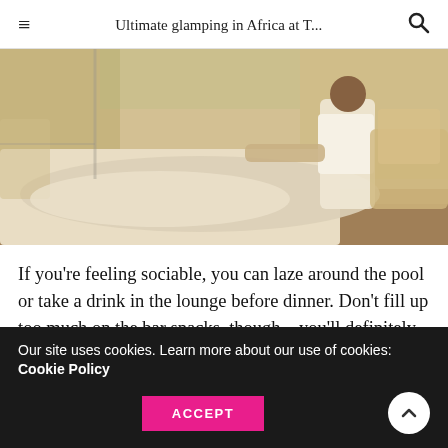Ultimate glamping in Africa at T...
[Figure (photo): A person receiving a massage on a table in an open-air safari lodge lounge with large windows overlooking bush landscape. A massage therapist in white uniform works on the client. Rattan chairs and warm lighting visible in background.]
If you’re feeling sociable, you can laze around the pool or take a drink in the lounge before dinner. Don’t fill up too much on the bar snacks, though – you’ll definitely want to leave space for the cuts-like-butter venison
Our site uses cookies. Learn more about our use of cookies: Cookie Policy